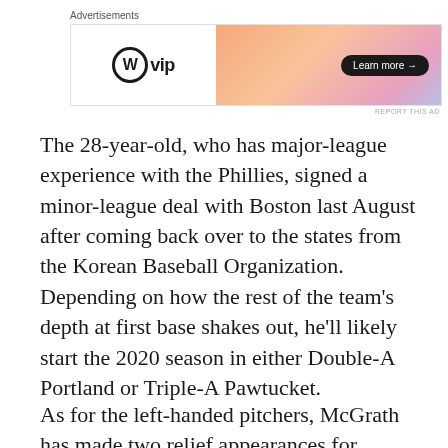Advertisements
[Figure (other): WordPress VIP advertisement banner with logo on white left side and gradient orange/pink/purple right side with 'Learn more →' button]
The 28-year-old, who has major-league experience with the Phillies, signed a minor-league deal with Boston last August after coming back over to the states from the Korean Baseball Organization. Depending on how the rest of the team's depth at first base shakes out, he'll likely start the 2020 season in either Double-A Portland or Triple-A Pawtucket.
As for the left-handed pitchers, McGrath has made two relief appearances for Boston so far